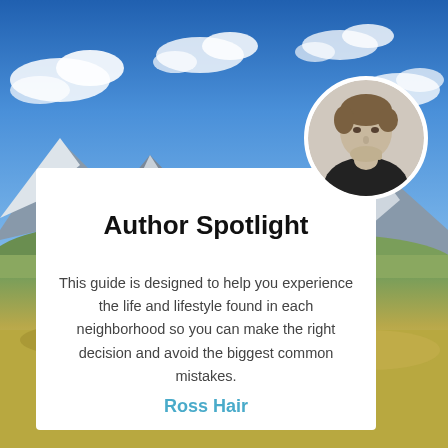[Figure (photo): Landscape background photo showing blue sky with white clouds, snow-capped mountains, green hills and a turquoise lake or river in the foreground]
[Figure (photo): Circular portrait photo of a man resting his chin on his hand, black and white photo]
Author Spotlight
This guide is designed to help you experience the life and lifestyle found in each neighborhood so you can make the right decision and avoid the biggest common mistakes.
Ross Hair